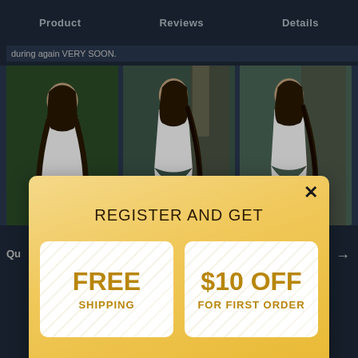Product   Reviews   Details
during again VERY SOON.
[Figure (photo): Three photos of a woman wearing a white dress, shown in outdoor/indoor settings]
Qu
[Figure (screenshot): Promotional modal popup with gradient gold background. Shows 'REGISTER AND GET' heading, two coupon cards: 'FREE SHIPPING' and '$10 OFF FOR FIRST ORDER', with a close X button in top right corner.]